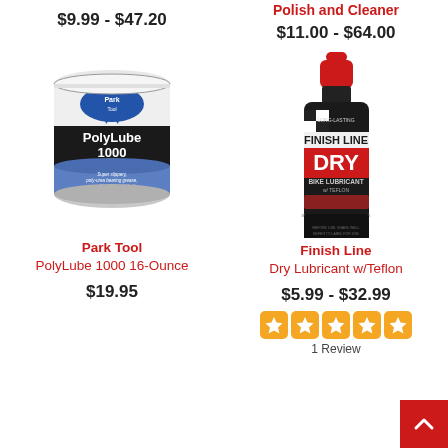$9.99 - $47.20
[Figure (photo): Park Tool PolyLube 1000 16-Ounce grease can, white and blue with black label band]
Park Tool
PolyLube 1000 16-Ounce
$19.95
Polish and Cleaner
$11.00 - $64.00
[Figure (photo): Finish Line Dry Lubricant w/Teflon bottle, black with red cap and red label area]
Finish Line
Dry Lubricant w/Teflon
$5.99 - $32.99
1 Review